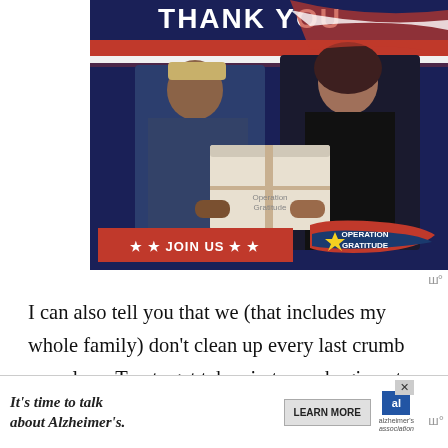[Figure (photo): Operation Gratitude advertisement showing a military service member in navy uniform receiving a care package box from a civilian woman. The ad has a dark navy background with a red and white stripe, 'THANK YOU' text at top, a red banner saying '★ ★ JOIN US ★ ★' at the bottom left, and the Operation Gratitude logo at bottom right.]
I can also tell you that we (that includes my whole family) don't clean up every last crumb ourselves. Treats get taken in to work, given to friends and neighbors, or made when we know we're having company to share them with. Quite a bit of it gets fr[ozen]
[Figure (photo): Alzheimer's Association advertisement banner at bottom of page. White background with text 'It's time to talk about Alzheimer's.' on the left, a 'LEARN MORE' button in the center, and the Alzheimer's Association logo on the right. Has a close/X button in the upper right corner.]